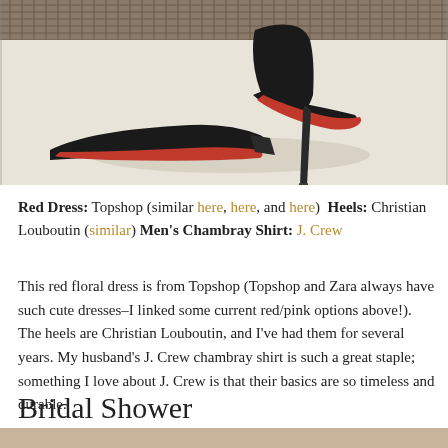[Figure (photo): Close-up photo of black Christian Louboutin high heel shoes with red soles on a light concrete surface with a metallic grid in the background]
Red Dress: Topshop (similar here, here, and here)  Heels: Christian Louboutin (similar) Men's Chambray Shirt: J. Crew
This red floral dress is from Topshop (Topshop and Zara always have such cute dresses–I linked some current red/pink options above!). The heels are Christian Louboutin, and I've had them for several years. My husband's J. Crew chambray shirt is such a great staple; something I love about J. Crew is that their basics are so timeless and durable.
Bridal Shower
[Figure (photo): Partial view of a photo at the bottom of the page with warm beige/tan tones]